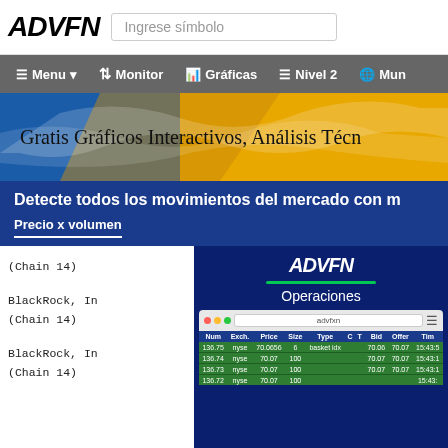ADVFN | Ingrese símbolo
Menu | Monitor | Gráficas | Nivel 2 | Mun
[Figure (screenshot): ADVFN banner: Gratis Gráficos Interactivos, Análisis Técn...]
Detecte todos los movimientos del mercado con m
Precio x volumen
(Chain 14)

BlackRock, In
(Chain 14)

BlackRock, In
(Chain 14)
[Figure (screenshot): ADVFN Operaciones widget showing a trades table with columns Num, Exch., Price, Size, Type, C, T, Bid, Offer, Tim and green rows of trade data for nyse at prices around 70.07]